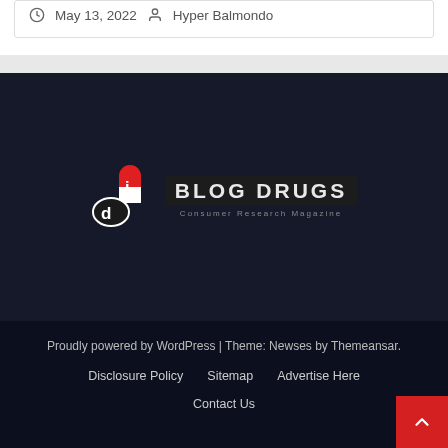May 13, 2022  Hyper Balmondo
[Figure (logo): Blog Drugs logo with pill/capsule icon in red and white, text BLOG DRUGS with tagline]
Proudly powered by WordPress | Theme: Newses by Themeansar.
Disclosure Policy
Sitemap
Advertise Here
Contact Us